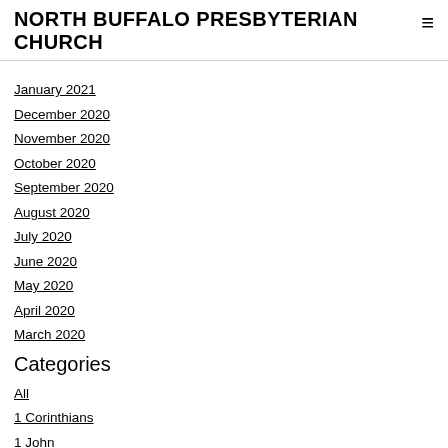NORTH BUFFALO PRESBYTERIAN CHURCH
January 2021
December 2020
November 2020
October 2020
September 2020
August 2020
July 2020
June 2020
May 2020
April 2020
March 2020
Categories
All
1 Corinthians
1 John
1 Kings